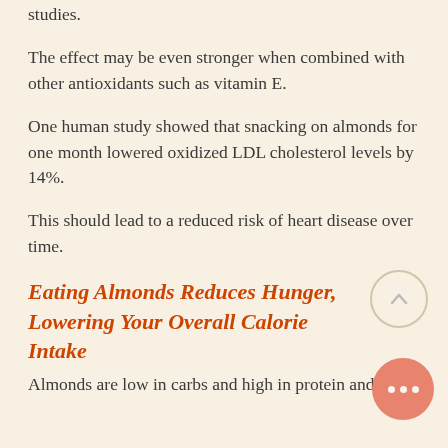studies.
The effect may be even stronger when combined with other antioxidants such as vitamin E.
One human study showed that snacking on almonds for one month lowered oxidized LDL cholesterol levels by 14%.
This should lead to a reduced risk of heart disease over time.
Eating Almonds Reduces Hunger, Lowering Your Overall Calorie Intake
Almonds are low in carbs and high in protein and fiber.